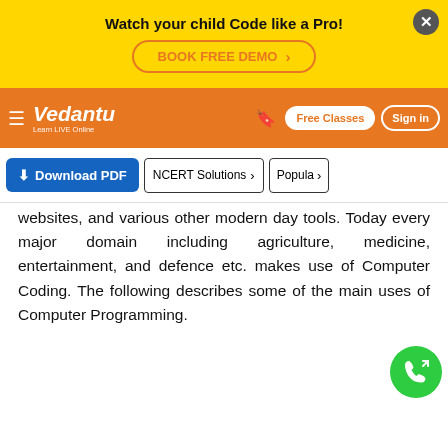Watch your child Code like a Pro! BOOK FREE DEMO
[Figure (screenshot): Vedantu navigation bar with logo, bookmark, Free Classes button, and Sign in button on orange background]
[Figure (screenshot): Action bar with Download PDF button, NCERT Solutions button, and Popular button]
websites, and various other modern day tools. Today every major domain including agriculture, medicine, entertainment, and defence etc. makes use of Computer Coding. The following describes some of the main uses of Computer Programming.
Computer programs are used in web development, graphic designing, and creating apps.
The special effects in videos and movies are added through Coding.